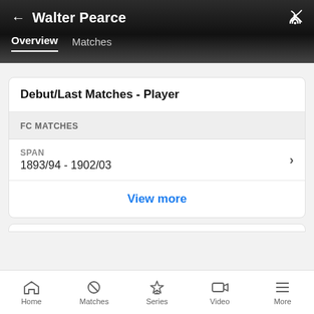← Walter Pearce
Overview  Matches
Debut/Last Matches - Player
FC MATCHES
SPAN
1893/94 - 1902/03
View more
Home  Matches  Series  Video  More